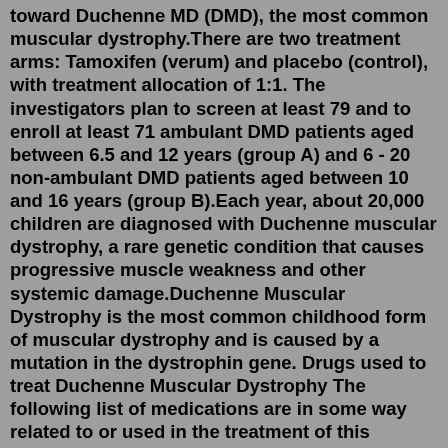toward Duchenne MD (DMD), the most common muscular dystrophy.There are two treatment arms: Tamoxifen (verum) and placebo (control), with treatment allocation of 1:1. The investigators plan to screen at least 79 and to enroll at least 71 ambulant DMD patients aged between 6.5 and 12 years (group A) and 6 - 20 non-ambulant DMD patients aged between 10 and 16 years (group B).Each year, about 20,000 children are diagnosed with Duchenne muscular dystrophy, a rare genetic condition that causes progressive muscle weakness and other systemic damage.Duchenne Muscular Dystrophy is the most common childhood form of muscular dystrophy and is caused by a mutation in the dystrophin gene. Drugs used to treat Duchenne Muscular Dystrophy The following list of medications are in some way related to or used in the treatment of this condition. Developing effective treatments is difficult because Duchenne muscular dystrophy affects so many parts of the body, says Dr. Clemens.